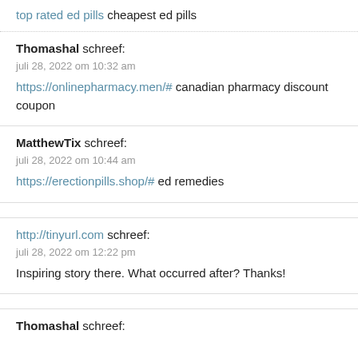top rated ed pills cheapest ed pills
Thomashal schreef:
juli 28, 2022 om 10:32 am
https://onlinepharmacy.men/# canadian pharmacy discount coupon
MatthewTix schreef:
juli 28, 2022 om 10:44 am
https://erectionpills.shop/# ed remedies
http://tinyurl.com schreef:
juli 28, 2022 om 12:22 pm
Inspiring story there. What occurred after? Thanks!
Thomashal schreef: